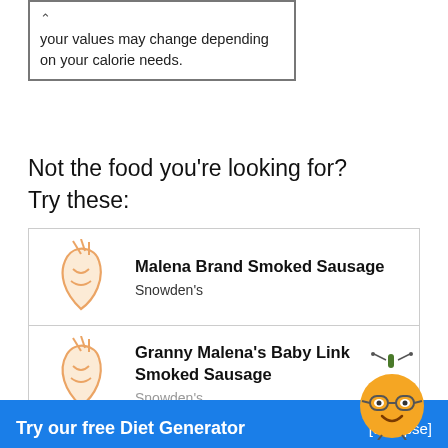your values may change depending on your calorie needs.
Not the food you're looking for? Try these:
Malena Brand Smoked Sausage — Snowden's
Granny Malena's Baby Link Smoked Sausage — Snowden's
Try our free Diet Generator [collapse]
I want to eat 1500 calories in 4 meals.
Generate